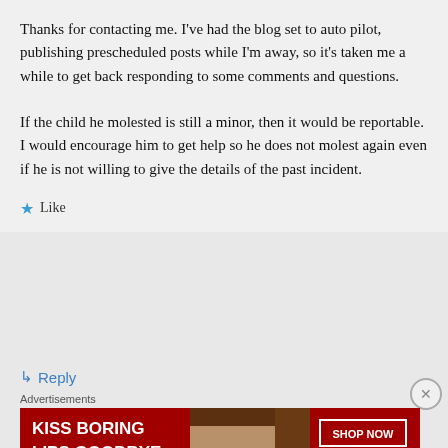Thanks for contacting me. I've had the blog set to auto pilot, publishing prescheduled posts while I'm away, so it's taken me a while to get back responding to some comments and questions. If the child he molested is still a minor, then it would be reportable. I would encourage him to get help so he does not molest again even if he is not willing to give the details of the past incident.
★ Like
↳ Reply
Advertisements
[Figure (illustration): Advertisement banner for Macy's lipstick promotion. Red background with woman's face, bold white text reading 'KISS BORING LIPS GOODBYE', and a 'SHOP NOW' button with Macy's star logo.]